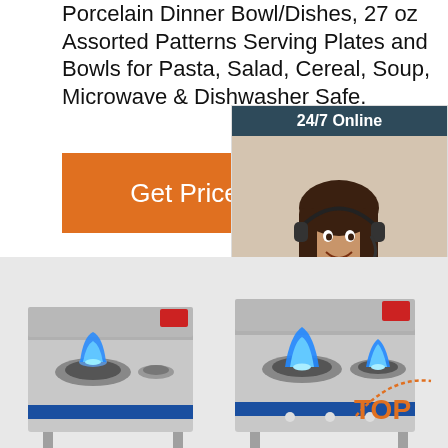Porcelain Dinner Bowl/Dishes, 27 oz Assorted Patterns Serving Plates and Bowls for Pasta, Salad, Cereal, Soup, Microwave & Dishwasher Safe.
Get Price
[Figure (infographic): Customer service chat widget with dark blue header '24/7 Online', photo of a smiling woman with headset, italic text 'Click here for free chat!', and orange QUOTATION button]
[Figure (photo): Two stainless steel commercial gas stove burners with blue flames on a grey background, with a TOP badge in orange on the lower right]